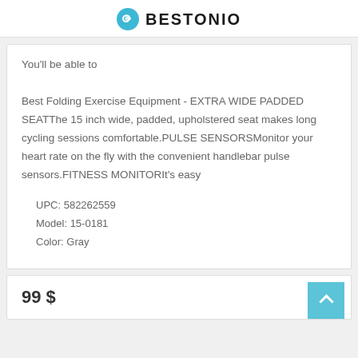BESTONIO
You'll be able to

Best Folding Exercise Equipment - EXTRA WIDE PADDED SEATThe 15 inch wide, padded, upholstered seat makes long cycling sessions comfortable.PULSE SENSORSMonitor your heart rate on the fly with the convenient handlebar pulse sensors.FITNESS MONITORIt's easy
UPC: 582262559
Model: 15-0181
Color: Gray
99 $